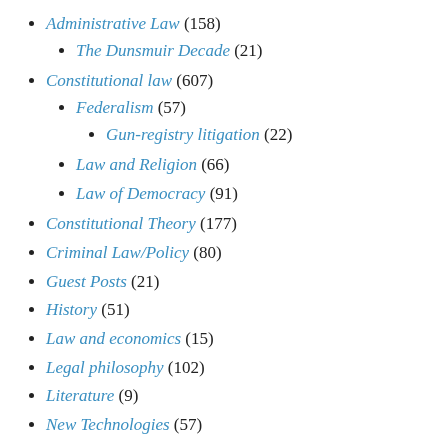Administrative Law (158)
The Dunsmuir Decade (21)
Constitutional law (607)
Federalism (57)
Gun-registry litigation (22)
Law and Religion (66)
Law of Democracy (91)
Constitutional Theory (177)
Criminal Law/Policy (80)
Guest Posts (21)
History (51)
Law and economics (15)
Legal philosophy (102)
Literature (9)
New Technologies (57)